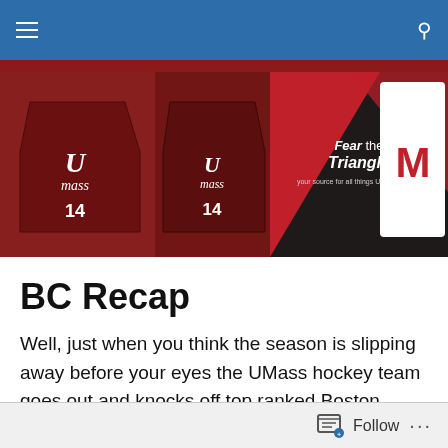Navigation bar with menu and search icons
[Figure (photo): Fear the Triangle UMass hockey blog banner showing UMass hockey jerseys numbered 14 and the Fear the Triangle logo in the center]
BC Recap
Well, just when you think the season is slipping away before your eyes the UMass hockey team goes out and knocks off top ranked Boston College.  If the team was going to bounce back from a weekend of frustration last week and an embarrassing performance Friday, this was a damn good way to do it.  Just one day after giving up 7
Follow ...